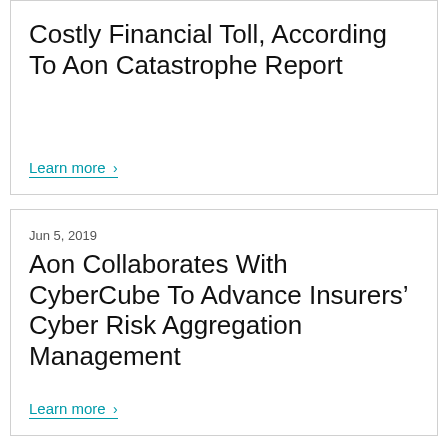Costly Financial Toll, According To Aon Catastrophe Report
Learn more >
Jun 5, 2019
Aon Collaborates With CyberCube To Advance Insurers’ Cyber Risk Aggregation Management
Learn more >